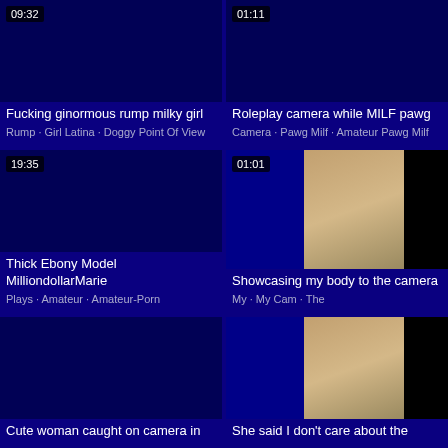[Figure (screenshot): Video thumbnail grid showing adult content video listings with blue background, timestamps, titles and tags. Top-left: 'Fucking ginormous rump milky girl', tags: Rump · Girl Latina · Doggy Point Of View, duration 09:32. Top-right: 'Roleplay camera while MILF pawg', tags: Camera · Pawg Milf · Amateur Pawg Milf, duration 01:11. Middle-left: 'Thick Ebony Model MilliondollarMarie', tags: Plays · Amateur · Amateur-Porn, duration 19:35. Middle-right: 'Showcasing my body to the camera', tags: My · My Cam · The, duration 01:01. Bottom-left: 'Cute woman caught on camera in'. Bottom-right: 'She said I don't care about the'.]